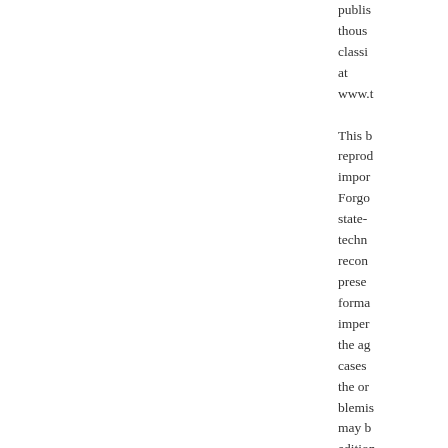publis... thous... classi... at www.t... This b... reprod... impor... Forgo... state-... techn... recon... prese... forma... imper... the ag... cases... the or... blemis... may b... edition... repair... of imp...